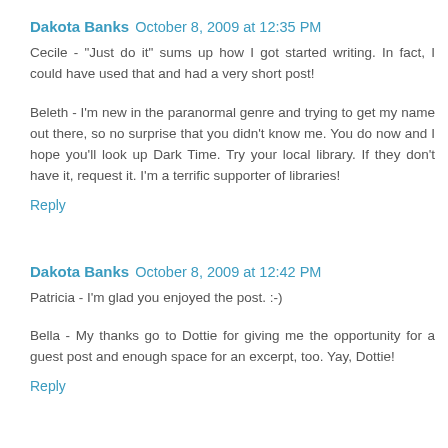Dakota Banks  October 8, 2009 at 12:35 PM
Cecile - "Just do it" sums up how I got started writing. In fact, I could have used that and had a very short post!
Beleth - I'm new in the paranormal genre and trying to get my name out there, so no surprise that you didn't know me. You do now and I hope you'll look up Dark Time. Try your local library. If they don't have it, request it. I'm a terrific supporter of libraries!
Reply
Dakota Banks  October 8, 2009 at 12:42 PM
Patricia - I'm glad you enjoyed the post. :-)
Bella - My thanks go to Dottie for giving me the opportunity for a guest post and enough space for an excerpt, too. Yay, Dottie!
Reply